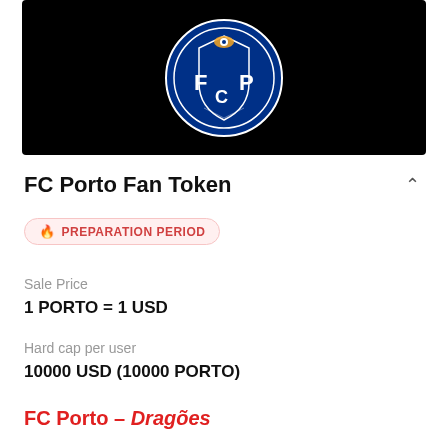[Figure (logo): FC Porto (FCP) football club logo on black background — circular blue badge with letters F, C, P and decorative crest]
FC Porto Fan Token
PREPARATION PERIOD
Sale Price
1 PORTO = 1 USD
Hard cap per user
10000 USD (10000 PORTO)
FC Porto – Dragões